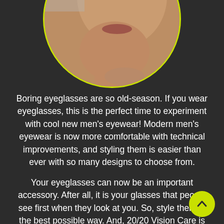[Figure (photo): Circular cropped photo of a person's face/chin area with a yellow-green circular border, shown from below the nose]
Boring eyeglasses are so old-season. If you wear eyeglasses, this is the perfect time to experiment with cool new men's eyewear! Modern men's eyewear is now more comfortable with technical improvements, and styling them is easier than ever with so many designs to choose from.
Your eyeglasses can now be an important accessory. After all, it is your glasses that people see first when they look at you. So, style them in the best possible way. And, 20/20 Vision Care is